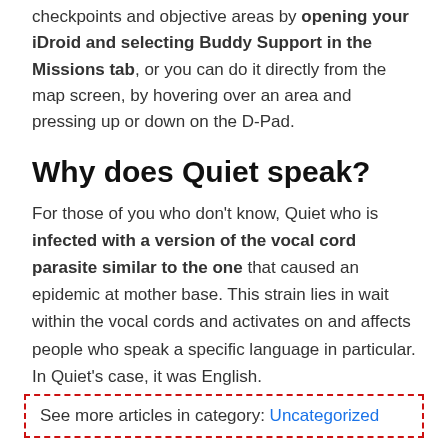checkpoints and objective areas by opening your iDroid and selecting Buddy Support in the Missions tab, or you can do it directly from the map screen, by hovering over an area and pressing up or down on the D-Pad.
Why does Quiet speak?
For those of you who don't know, Quiet who is infected with a version of the vocal cord parasite similar to the one that caused an epidemic at mother base. This strain lies in wait within the vocal cords and activates on and affects people who speak a specific language in particular. In Quiet's case, it was English.
See more articles in category: Uncategorized